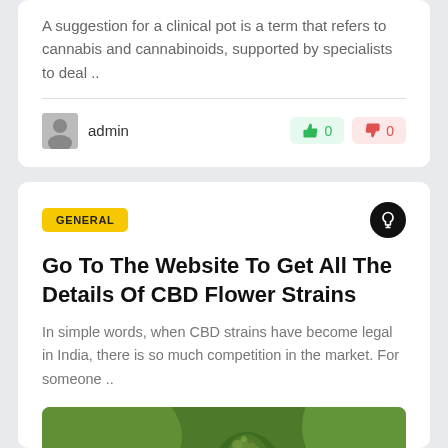A suggestion for a clinical pot is a term that refers to cannabis and cannabinoids, supported by specialists to deal ..
admin
0
0
GENERAL
Go To The Website To Get All The Details Of CBD Flower Strains
In simple words, when CBD strains have become legal in India, there is so much competition in the market. For someone ..
[Figure (photo): Close-up photo of a cannabis/CBD flower plant with green leaves and buds]